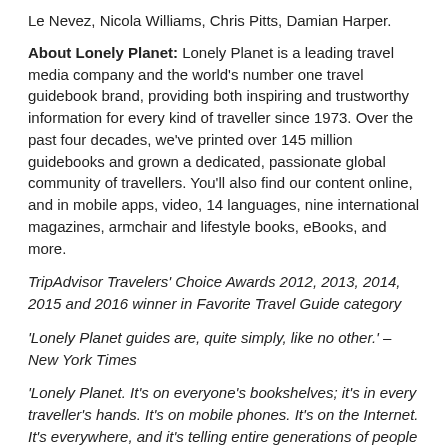Le Nevez, Nicola Williams, Chris Pitts, Damian Harper.
About Lonely Planet: Lonely Planet is a leading travel media company and the world's number one travel guidebook brand, providing both inspiring and trustworthy information for every kind of traveller since 1973. Over the past four decades, we've printed over 145 million guidebooks and grown a dedicated, passionate global community of travellers. You'll also find our content online, and in mobile apps, video, 14 languages, nine international magazines, armchair and lifestyle books, eBooks, and more.
TripAdvisor Travelers' Choice Awards 2012, 2013, 2014, 2015 and 2016 winner in Favorite Travel Guide category
'Lonely Planet guides are, quite simply, like no other.' – New York Times
'Lonely Planet. It's on everyone's bookshelves; it's in every traveller's hands. It's on mobile phones. It's on the Internet. It's everywhere, and it's telling entire generations of people how to travel the world.' – Fairfax Media (Australia)